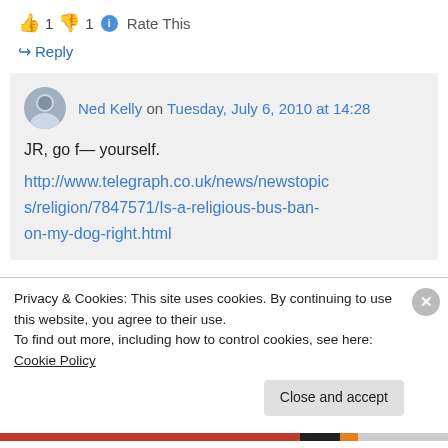👍 1 👎 1 ℹ Rate This
↪ Reply
Ned Kelly on Tuesday, July 6, 2010 at 14:28
JR, go f— yourself.
http://www.telegraph.co.uk/news/newstopics/religion/7847571/Is-a-religious-bus-ban-on-my-dog-right.html
Privacy & Cookies: This site uses cookies. By continuing to use this website, you agree to their use.
To find out more, including how to control cookies, see here: Cookie Policy
Close and accept